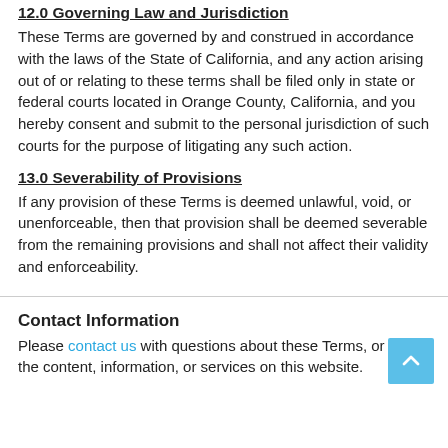12.0 Governing Law and Jurisdiction
These Terms are governed by and construed in accordance with the laws of the State of California, and any action arising out of or relating to these terms shall be filed only in state or federal courts located in Orange County, California, and you hereby consent and submit to the personal jurisdiction of such courts for the purpose of litigating any such action.
13.0 Severability of Provisions
If any provision of these Terms is deemed unlawful, void, or unenforceable, then that provision shall be deemed severable from the remaining provisions and shall not affect their validity and enforceability.
Contact Information
Please contact us with questions about these Terms, or about the content, information, or services on this website.